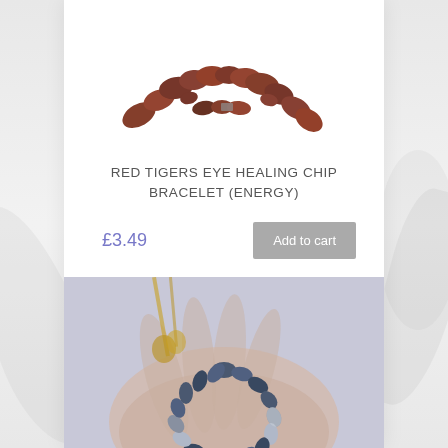[Figure (photo): Red Tigers Eye healing chip bracelet product photo showing dark reddish-brown stone chips on a white background]
RED TIGERS EYE HEALING CHIP BRACELET (ENERGY)
£3.49
Add to cart
[Figure (photo): Blue/grey chip stone bracelet held in a person's hand, showing oval polished stone chips in a circular bracelet shape]